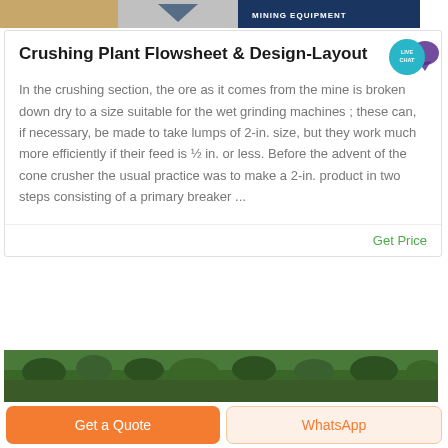[Figure (photo): Top banner image showing mining equipment with orange/tan, gray, and dark blue sections. Text reads MINING EQUIPMENT.]
Crushing Plant Flowsheet & Design-Layout
[Figure (illustration): Live Chat speech bubble icon in teal/purple with text LIVE CHAT]
In the crushing section, the ore as it comes from the mine is broken down dry to a size suitable for the wet grinding machines ; these can, if necessary, be made to take lumps of 2-in. size, but they work much more efficiently if their feed is ½ in. or less. Before the advent of the cone crusher the usual practice was to make a 2-in. product in two steps consisting of a primary breaker ...
Get Price
[Figure (photo): Landscape photo showing dense green trees and shrubs.]
Get a Quote
WhatsApp